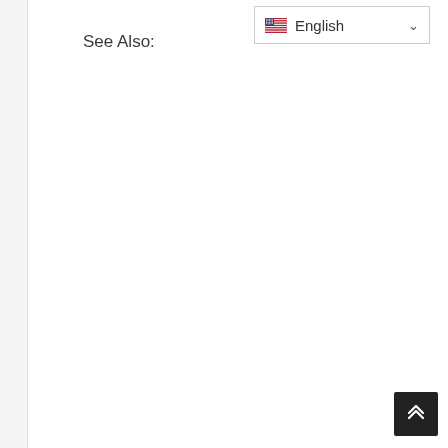See Also:
[Figure (screenshot): Language selector dropdown showing US flag and 'English' with chevron]
[Figure (other): Back to top button — dark square with upward double chevron arrow]